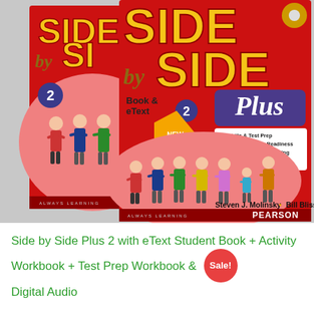[Figure (photo): Two 'Side by Side Plus 2' English language textbook covers by Steven J. Molinsky and Bill Bliss, published by Pearson. The front cover shows 'Side by Side Plus' with features listed: Life Skills & Test Prep, Career & Academic Readiness, Expanded Reading & Writing, Digital FunZone & Audio. Labeled 'Book & eText 2'. Authors: Steven J. Molinsky • Bill Bliss.]
Side by Side Plus 2 with eText Student Book + Activity Workbook + Test Prep Workbook & Digital Audio